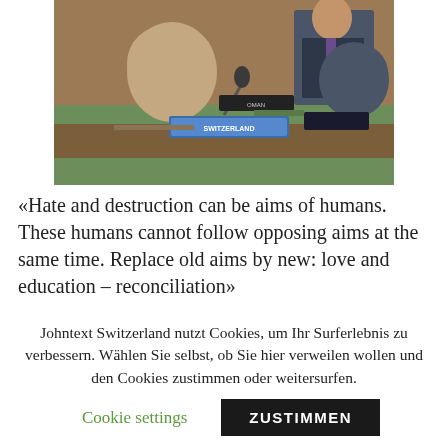[Figure (photo): Photo of a UN-style assembly hall seating area with green desks, name placards, microphones, and chairs. A person in a suit is visible seated at the desk in the background.]
«Hate and destruction can be aims of humans. These humans cannot follow opposing aims at the same time. Replace old aims by new: love and education – reconciliation»
Johntext Switzerland nutzt Cookies, um Ihr Surferlebnis zu verbessern. Wählen Sie selbst, ob Sie hier verweilen wollen und den Cookies zustimmen oder weitersurfen.
Cookie settings
ZUSTIMMEN